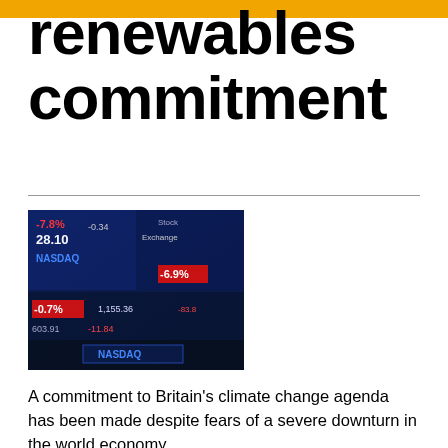renewables commitment
[Figure (photo): NASDAQ stock market display board showing financial ticker data with blue LED screens and red/green numbers including -0.7%, -6.9%, 28.10, 603.91, 1,155.36, NASDAQ branding]
A commitment to Britain's climate change agenda has been made despite fears of a severe downturn in the world economy.
The UK's new energy and climate change secretary, Ed Miliband, said many of the new jobs of the future will be green jobs,